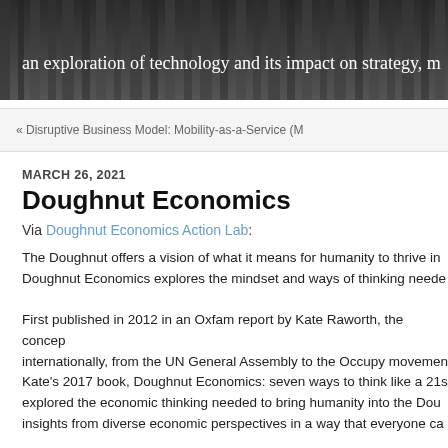[Figure (photo): Dark grayscale image of building architecture with white overlay text reading 'an exploration of technology and its impact on strategy, m...']
an exploration of technology and its impact on strategy, m
« Disruptive Business Model: Mobility-as-a-Service (M
MARCH 26, 2021
Doughnut Economics
Via Doughnut Economics Action Lab:
The Doughnut offers a vision of what it means for humanity to thrive in the 21st century. Doughnut Economics explores the mindset and ways of thinking needed...
First published in 2012 in an Oxfam report by Kate Raworth, the concept gained traction internationally, from the UN General Assembly to the Occupy movement...
Kate's 2017 book, Doughnut Economics: seven ways to think like a 21st century economist, explored the economic thinking needed to bring humanity into the Doughnut, weaving together insights from diverse economic perspectives in a way that everyone ca...
The Doughnut's holistic scope and visual simplicity, coupled with its scie... into a convening space for big conversations about reimagining and re... being discussed, debated and put into practice in education and in com...